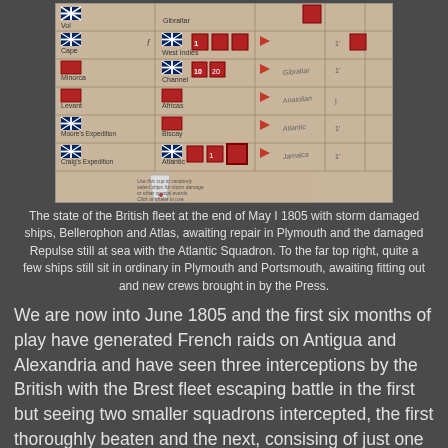[Figure (other): A board game fleet management screen showing British naval squadrons with flags, unit tokens, red arrows, and location labels including West Indies, Channel, Africas, Biscay, Atlantic. A cup at the bottom used to randomly select ships for storm damage or other special events.]
The state of the British fleet at the end of May I 1805 with storm damaged ships, Bellerophon and Atlas, awaiting repair in Plymouth and the damaged Repulse still at sea with the Atlantic Squadron. To the far top right, quite a few ships still sit in ordinary in Plymouth and Portsmouth, awaiting fitting out and new crews brought in by the Press.
We are now into June 1805 and the first six months of play have generated French raids on Antigua and Alexandria and have seen three interceptions by the British with the Brest fleet escaping battle in the first but seeing two smaller squadrons intercepted, the first thoroughly beaten and the next, consising of just one French 74 about to be taken by the Channel squadron on patrol in the Bay of Biscay.